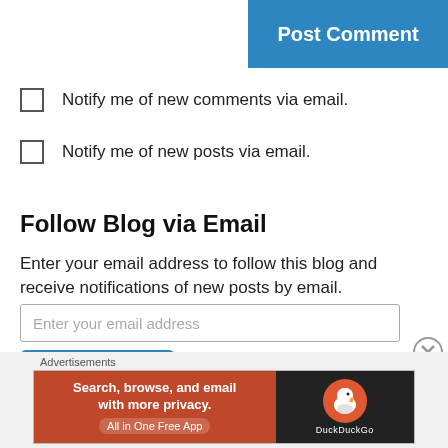[Figure (screenshot): Blue 'Post Comment' button in upper right corner]
Notify me of new comments via email.
Notify me of new posts via email.
Follow Blog via Email
Enter your email address to follow this blog and receive notifications of new posts by email.
Enter your email address
Follow
Join 136 other followers
Advertisements
[Figure (screenshot): DuckDuckGo advertisement banner: 'Search, browse, and email with more privacy. All in One Free App' with DuckDuckGo logo on dark background]